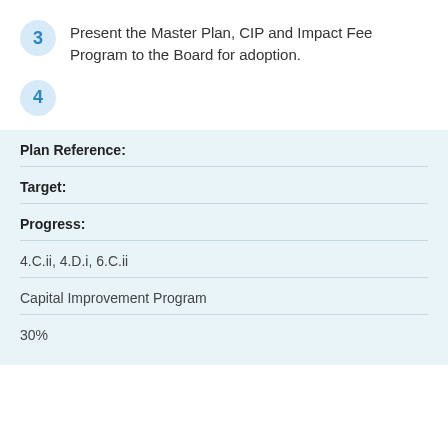3 — Present the Master Plan, CIP and Impact Fee Program to the Board for adoption.
4
| Field | Value |
| --- | --- |
| Plan Reference: | 4.C.ii, 4.D.i,  6.C.ii |
| Target: | Capital Improvement Program |
| Progress: | 30% |